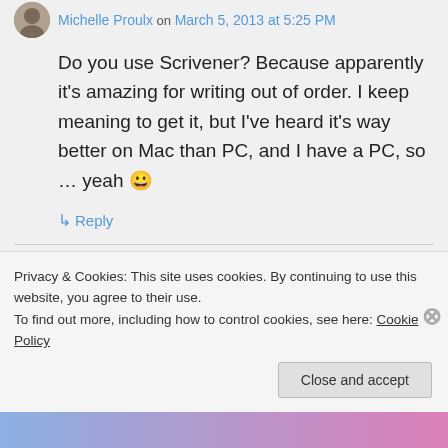Michelle Proulx on March 5, 2013 at 5:25 PM
Do you use Scrivener? Because apparently it's amazing for writing out of order. I keep meaning to get it, but I've heard it's way better on Mac than PC, and I have a PC, so … yeah 😀
↳ Reply
tracycembor on March 5, 2013 at 9:42 PM
Privacy & Cookies: This site uses cookies. By continuing to use this website, you agree to their use.
To find out more, including how to control cookies, see here: Cookie Policy
Close and accept